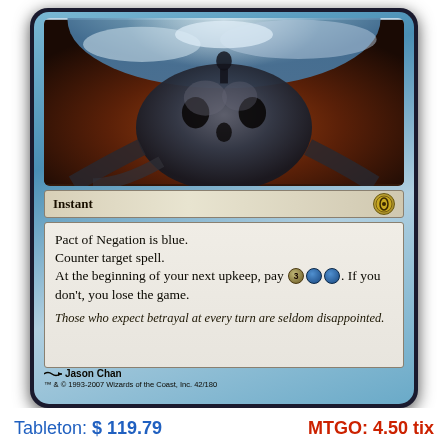[Figure (illustration): Magic: The Gathering card 'Pact of Negation' showing a dark creature with a skull-like form against an orange-red sky with blue-white clouds. Card art by Jason Chan.]
Instant
Pact of Negation is blue.
Counter target spell.
At the beginning of your next upkeep, pay 3UU. If you don't, you lose the game.
Those who expect betrayal at every turn are seldom disappointed.
Jason Chan
TM & © 1993-2007 Wizards of the Coast, Inc. 42/180
Tableton: $ 119.79
MTGO: 4.50 tix